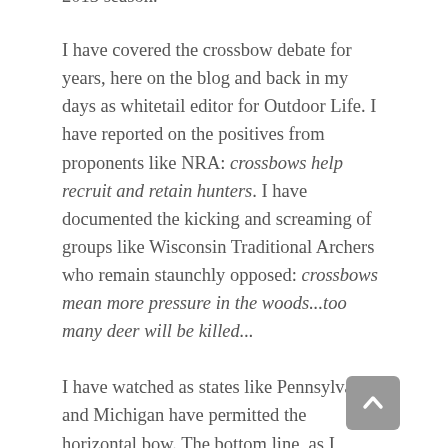2013 season.
I have covered the crossbow debate for years, here on the blog and back in my days as whitetail editor for Outdoor Life. I have reported on the positives from proponents like NRA: crossbows help recruit and retain hunters. I have documented the kicking and screaming of groups like Wisconsin Traditional Archers who remain staunchly opposed: crossbows mean more pressure in the woods...too many deer will be killed...
I have watched as states like Pennsylvania and Michigan have permitted the horizontal bow. The bottom line, as I blogged last year: the hunting community needs to come to grips with the fact that liberalized crossbow use is here to stay. I predict crossbows will be permitted in early archery season in every state within a decade (heck, we are almost there now).
What makes the Wisconsin situation interesting is the timing. 2012 was an incredible year for bowhunters in the state, one of the most impressive seasons I can